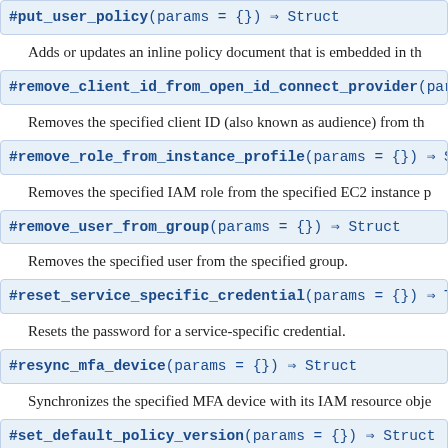#put_user_policy(params = {}) ⇒ Struct
Adds or updates an inline policy document that is embedded in th…
#remove_client_id_from_open_id_connect_provider(par…
Removes the specified client ID (also known as audience) from th…
#remove_role_from_instance_profile(params = {}) ⇒ S…
Removes the specified IAM role from the specified EC2 instance p…
#remove_user_from_group(params = {}) ⇒ Struct
Removes the specified user from the specified group.
#reset_service_specific_credential(params = {}) ⇒ T…
Resets the password for a service-specific credential.
#resync_mfa_device(params = {}) ⇒ Struct
Synchronizes the specified MFA device with its IAM resource obje…
#set_default_policy_version(params = {}) ⇒ Struct
Sets the specified version of the specified policy as the policy's de…
#set_security_token_service_preferences(params = {}…